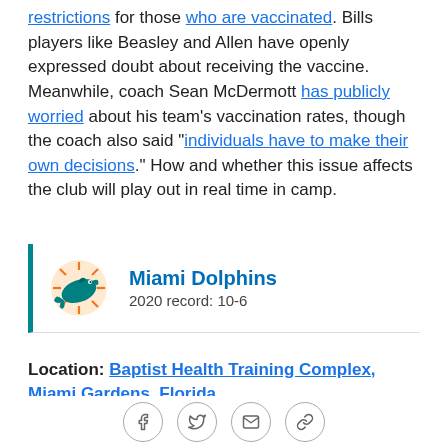restrictions for those who are vaccinated. Bills players like Beasley and Allen have openly expressed doubt about receiving the vaccine. Meanwhile, coach Sean McDermott has publicly worried about his team's vaccination rates, though the coach also said "individuals have to make their own decisions." How and whether this issue affects the club will play out in real time in camp.
Miami Dolphins
2020 record: 10-6
Location: Baptist Health Training Complex, Miami Gardens, Florida
Most important position battle: Running back. Odds